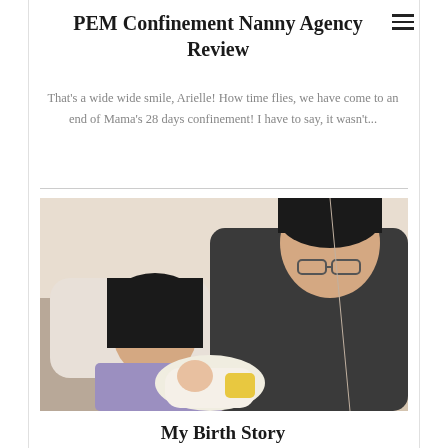PEM Confinement Nanny Agency Review
That's a wide wide smile, Arielle! How time flies, we have come to an end of Mama's 28 days confinement! I have to say, it wasn't...
[Figure (photo): A woman reclining and smiling while holding a newborn baby, with a man in a dark t-shirt and glasses leaning over them affectionately.]
My Birth Story